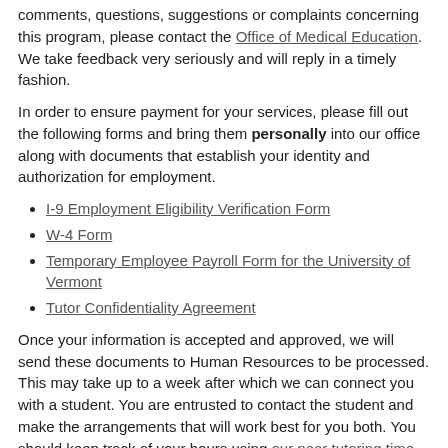comments, questions, suggestions or complaints concerning this program, please contact the Office of Medical Education. We take feedback very seriously and will reply in a timely fashion.
In order to ensure payment for your services, please fill out the following forms and bring them personally into our office along with documents that establish your identity and authorization for employment.
I-9 Employment Eligibility Verification Form
W-4 Form
Temporary Employee Payroll Form for the University of Vermont
Tutor Confidentiality Agreement
Once your information is accepted and approved, we will send these documents to Human Resources to be processed. This may take up to a week after which we can connect you with a student. You are entrusted to contact the student and make the arrangements that will work best for you both. You should keep track of your hours using our peer tutoring time sheet and submit it to the Office of Medical Education (N-100 Given) for payment.
Thank you for your help!